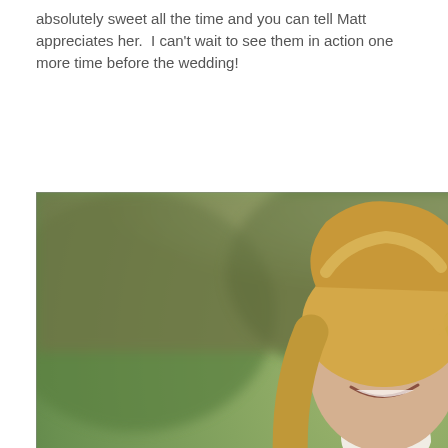absolutely sweet all the time and you can tell Matt appreciates her.  I can't wait to see them in action one more time before the wedding!
[Figure (photo): A couple posing outdoors on a green lawn with blurred background of trees and buildings. A woman with blonde hair wearing a cream/white turtleneck sweater is on the back of a man wearing a tan ribbed sweater. Both are smiling and appear happy. The woman has her arms around the man's neck.]